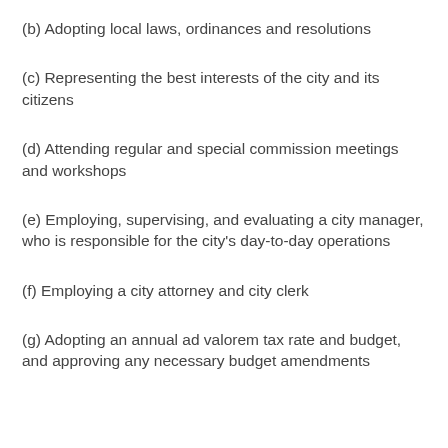(b) Adopting local laws, ordinances and resolutions
(c) Representing the best interests of the city and its citizens
(d) Attending regular and special commission meetings and workshops
(e) Employing, supervising, and evaluating a city manager, who is responsible for the city's day-to-day operations
(f) Employing a city attorney and city clerk
(g) Adopting an annual ad valorem tax rate and budget, and approving any necessary budget amendments